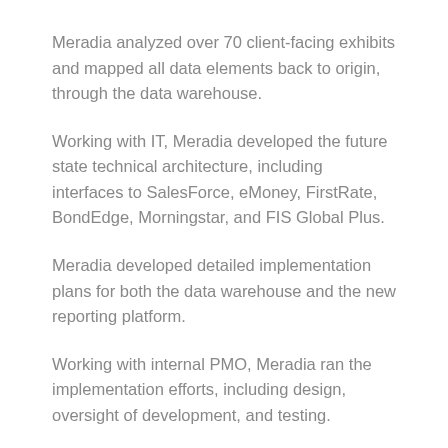Meradia analyzed over 70 client-facing exhibits and mapped all data elements back to origin, through the data warehouse.
Working with IT, Meradia developed the future state technical architecture, including interfaces to SalesForce, eMoney, FirstRate, BondEdge, Morningstar, and FIS Global Plus.
Meradia developed detailed implementation plans for both the data warehouse and the new reporting platform.
Working with internal PMO, Meradia ran the implementation efforts, including design, oversight of development, and testing.
CATEGORIES: Asset Managers, Client Experience